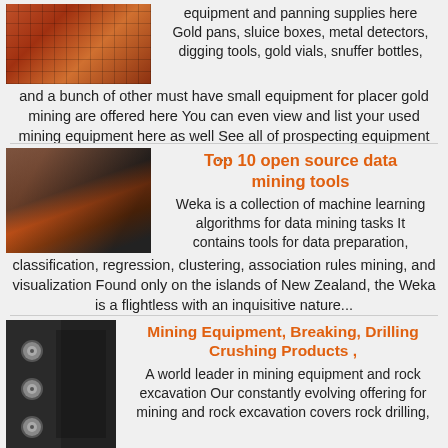[Figure (photo): Aerial or close-up view of orange/red grid-like pattern, possibly mining field from above]
equipment and panning supplies here Gold pans, sluice boxes, metal detectors, digging tools, gold vials, snuffer bottles, and a bunch of other must have small equipment for placer gold mining are offered here You can even view and list your used mining equipment here as well See all of prospecting equipment ....
[Figure (photo): Industrial mining machinery with orange equipment in a workshop or facility]
Top 10 open source data mining tools
Weka is a collection of machine learning algorithms for data mining tasks It contains tools for data preparation, classification, regression, clustering, association rules mining, and visualization Found only on the islands of New Zealand, the Weka is a flightless with an inquisitive nature...
[Figure (photo): Black and white close-up of industrial bolts or drilling equipment]
Mining Equipment, Breaking, Drilling Crushing Products ,
A world leader in mining equipment and rock excavation Our constantly evolving offering for mining and rock excavation covers rock drilling,